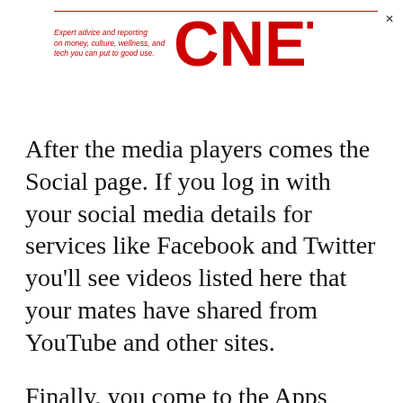Expert advice and reporting on money, culture, wellness, and tech you can put to good use. CNET
After the media players comes the Social page. If you log in with your social media details for services like Facebook and Twitter you'll see videos listed here that your mates have shared from YouTube and other sites.
Finally, you come to the Apps page. As you'd expect, this is where all the smart TV apps are found. The line-up of apps is top notch, as Samsung's system now includes iPlayer, 4oD, ITV Player and Demand 5 alongside Netflix and Lovefilm. There are plenty of other news and information apps too, as well as various premium movie rental options, such